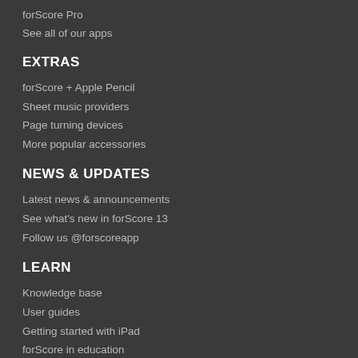forScore Pro
See all of our apps
EXTRAS
forScore + Apple Pencil
Sheet music providers
Page turning devices
More popular accessories
NEWS & UPDATES
Latest news & announcements
See what's new in forScore 13
Follow us @forscoreapp
LEARN
Knowledge base
User guides
Getting started with iPad
forScore in education
JOIN US